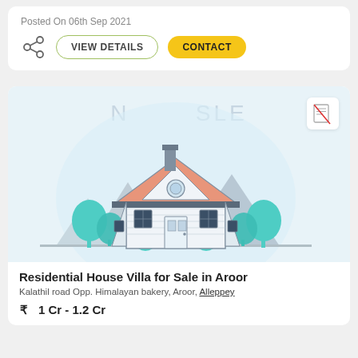Posted On 06th Sep 2021
[Figure (other): Share icon, VIEW DETAILS button with green outline, CONTACT button with yellow background]
[Figure (illustration): Illustration of a residential house villa with trees, no-image icon in top right corner, watermark text 'NO SALE']
Residential House Villa for Sale in Aroor
Kalathil road Opp. Himalayan bakery, Aroor, Alleppey
₹ 1 Cr - 1.2 Cr